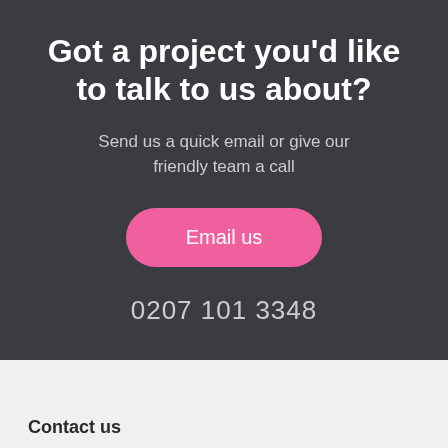Got a project you'd like to talk to us about?
Send us a quick email or give our friendly team a call
Email us
0207 101 3348
Contact us